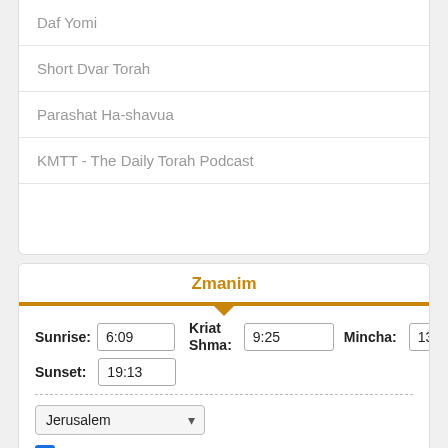Daf Yomi
Short Dvar Torah
Parashat Ha-shavua
KMTT - The Daily Torah Podcast
Zmanim
Sunrise: 6:09   Kriat Shma: 9:25   Mincha: 13:14
Sunset: 19:13
Jerusalem
Summer clock
Times courtesy of kaluach